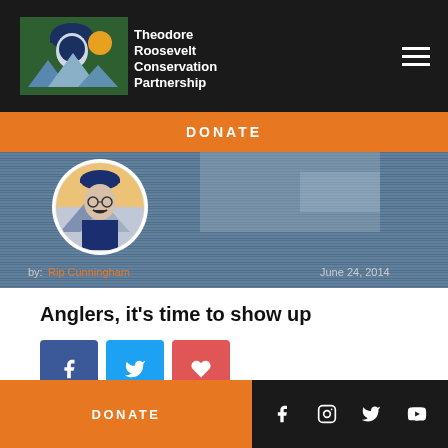[Figure (logo): Theodore Roosevelt Conservation Partnership logo with cowboy figure and green background]
DONATE
[Figure (photo): Hero banner with water/river background and TRCP avatar circle showing Theodore Roosevelt illustration. By: Rip Cunningham, June 24, 2014]
Anglers, it’s time to show up
[Figure (illustration): Social share buttons: Facebook (blue), Twitter (light blue), Heart/favorite (red)]
DONATE
[Figure (illustration): Footer social icons: Facebook, Instagram, Twitter, YouTube]